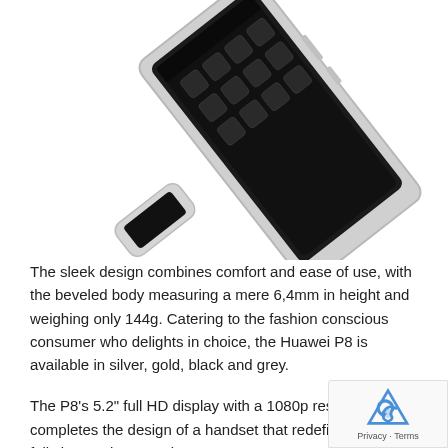[Figure (photo): Tilted Huawei P8 smartphone showing the screen with app icons, silver metal frame and body, viewed from a diagonal angle against a white background.]
The sleek design combines comfort and ease of use, with the beveled body measuring a mere 6,4mm in height and weighing only 144g. Catering to the fashion conscious consumer who delights in choice, the Huawei P8 is available in silver, gold, black and grey.
The P8's 5.2" full HD display with a 1080p resolution completes the design of a handset that redefines elega a fully immersive experience.